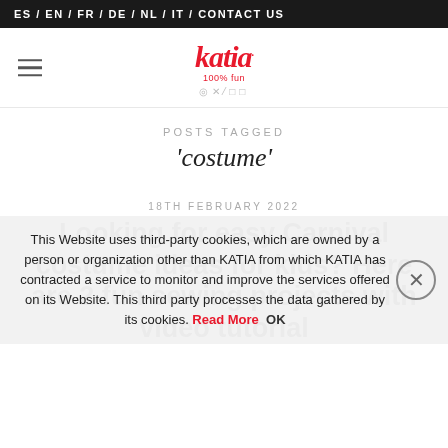ES / EN / FR / DE / NL / IT / CONTACT US
[Figure (logo): Katia logo with tagline '100% fun' and social media icons]
POSTS TAGGED
'costume'
18TH FEBRUARY 2022
Looking for easy Carnival costume ideas for kids? Here are 2 fun sewing projects with video tutorial
This Website uses third-party cookies, which are owned by a person or organization other than KATIA from which KATIA has contracted a service to monitor and improve the services offered on its Website. This third party processes the data gathered by its cookies. Read More OK